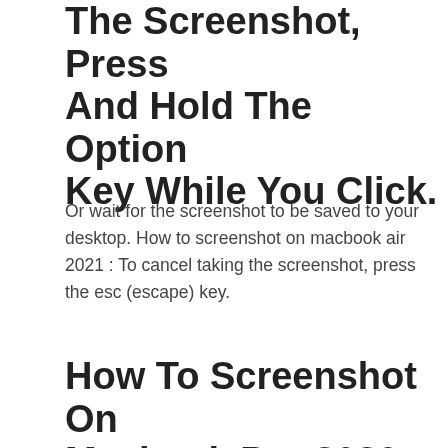The Screenshot, Press And Hold The Option Key While You Click.
Or wait for the screenshot to be saved to your desktop. How to screenshot on macbook air 2021 : To cancel taking the screenshot, press the esc (escape) key.
How To Screenshot On Macbook Pro 2020.
Capture a window or menu. The screenshot is saved in png format. To wrap up this process successfully, you must have the latest macos or above running macbook pro with touch bar.